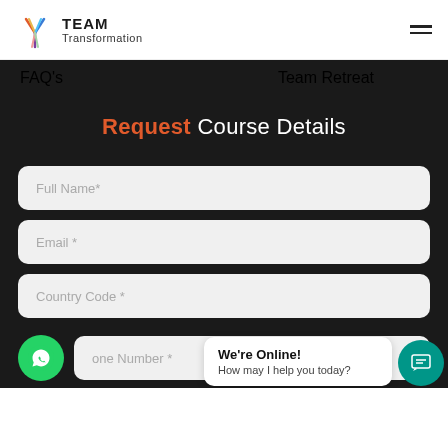TEAM Transformation
FAQ's    Team Retreat
Request Course Details
Full Name*
Email *
Country Code *
one Number *
We're Online! How may I help you today?